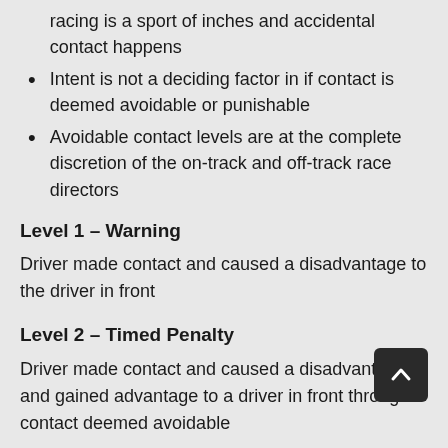racing is a sport of inches and accidental contact happens
Intent is not a deciding factor in if contact is deemed avoidable or punishable
Avoidable contact levels are at the complete discretion of the on-track and off-track race directors
Level 1 – Warning
Driver made contact and caused a disadvantage to the driver in front
Level 2 – Timed Penalty
Driver made contact and caused a disadvantage and gained advantage to a driver in front through contact deemed avoidable
Level 3 – Position Penalty